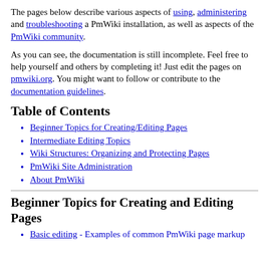The pages below describe various aspects of using, administering and troubleshooting a PmWiki installation, as well as aspects of the PmWiki community.
As you can see, the documentation is still incomplete. Feel free to help yourself and others by completing it! Just edit the pages on pmwiki.org. You might want to follow or contribute to the documentation guidelines.
Table of Contents
Beginner Topics for Creating/Editing Pages
Intermediate Editing Topics
Wiki Structures: Organizing and Protecting Pages
PmWiki Site Administration
About PmWiki
Beginner Topics for Creating and Editing Pages
Basic editing - Examples of common PmWiki page markup